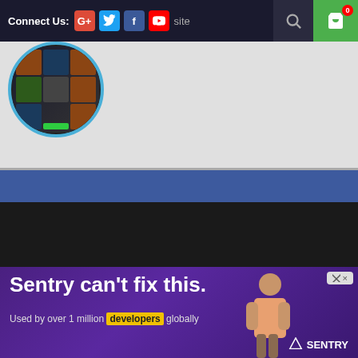Connect Us: G+ Twitter Facebook YouTube | site
[Figure (screenshot): Circular logo with grid of food/media thumbnails on dark background with blue border]
[Figure (screenshot): Blue navigation bar]
[Figure (screenshot): Dark content area with scroll-up green circle button and chevron down button]
[Figure (screenshot): Advertisement banner: Sentry can't fix this. Used by over 1 million developers globally. SENTRY logo.]